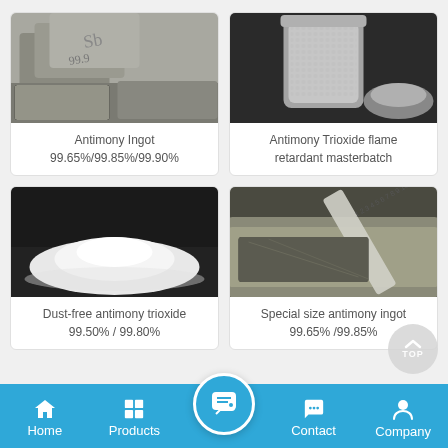[Figure (photo): Photo of antimony ingot blocks with numbers stamped on them]
Antimony Ingot
99.65%/99.85%/99.90%
[Figure (photo): Photo of antimony trioxide flame retardant masterbatch in a glass jar]
Antimony Trioxide flame retardant masterbatch
[Figure (photo): Photo of white dust-free antimony trioxide powder in a pile on a dark surface]
Dust-free antimony trioxide
99.50% / 99.80%
[Figure (photo): Photo of special size antimony ingot with ruler/scale showing measurements]
Special size antimony ingot
99.65% /99.85%
Home   Products   Contact   Company